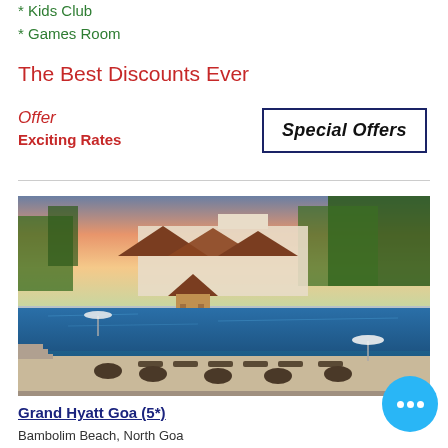* Kids Club
* Games Room
The Best Discounts Ever
Offer
Exciting Rates
Special Offers
[Figure (photo): Aerial view of Grand Hyatt Goa resort showing swimming pool, landscaped gardens, traditional architecture, and trees at sunset]
Grand Hyatt Goa (5*)
Bambolim Beach, North Goa